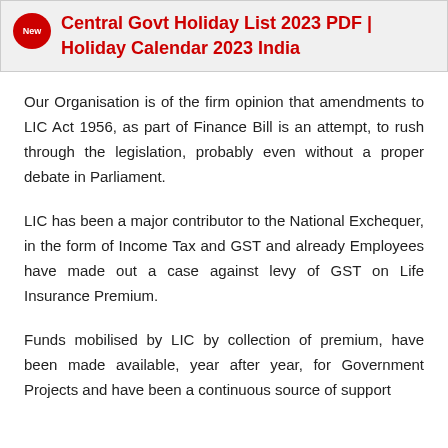[Figure (infographic): Banner with red 'New' badge and red bold title text: Central Govt Holiday List 2023 PDF | Holiday Calendar 2023 India, on a light grey background with border]
Our Organisation is of the firm opinion that amendments to LIC Act 1956, as part of Finance Bill is an attempt, to rush through the legislation, probably even without a proper debate in Parliament.
LIC has been a major contributor to the National Exchequer, in the form of Income Tax and GST and already Employees have made out a case against levy of GST on Life Insurance Premium.
Funds mobilised by LIC by collection of premium, have been made available, year after year, for Government Projects and have been a continuous source of support